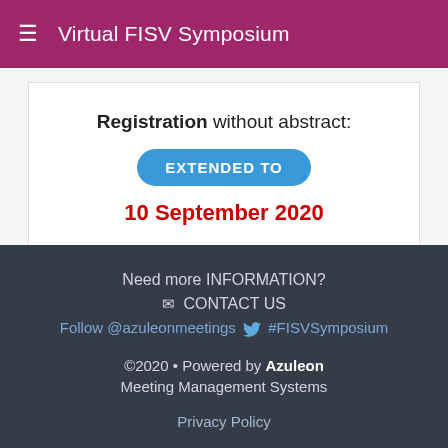Virtual FISV Symposium
Registration without abstract: EXTENDED TO 10 September 2020
Need more INFORMATION? ✉ CONTACT US Follow @azuleonmeetings #FISVSymposium ©2020 • Powered by Azuleon Meeting Management Systems Privacy Policy